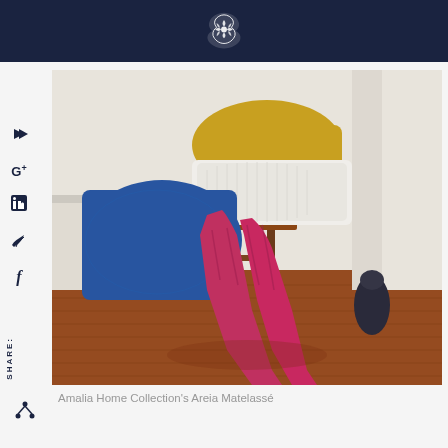Amalia Home Collection logo
[Figure (photo): Stacked pillows and a pink/magenta matelassé throw draped over a wooden stool on a hardwood floor. Blue pillow on left, white pillow in center, gold/yellow pillow on top. Pink throw drapes down to the floor.]
Amalia Home Collection's Areia Matelassé